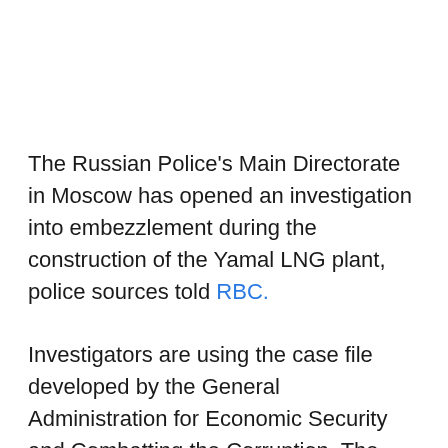The Russian Police's Main Directorate in Moscow has opened an investigation into embezzlement during the construction of the Yamal LNG plant, police sources told RBC.
Investigators are using the case file developed by the General Administration for Economic Security and Combatting the Corruption. The target of the investigation is unidentified OOO RSK-Logistik employees and managers.
The OOO RSK-Logistik embezzled a large sum of money by pretending to need them for construction of the